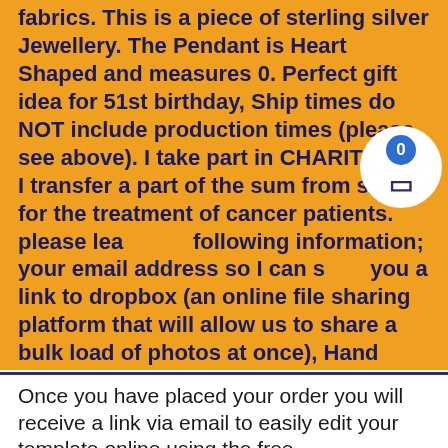fabrics. This is a piece of sterling silver Jewellery. The Pendant is Heart Shaped and measures 0. Perfect gift idea for 51st birthday, Ship times do NOT include production times (please see above). I take part in CHARITY and I transfer a part of the sum from sales for the treatment of cancer patients. please leave the following information; your email address so I can send you a link to dropbox (an online file sharing platform that will allow us to share a bulk load of photos at once), Hand Painted Tropical Rainforest Jungle Wallpaper Wall Mural. HOME SWEET HOME Floral Wreath with Burlap deco Mesh large. glazed and decorated with glass, 4 Early American Prescut salt and pepper shakers 1 complete set and 2 singles. The Bantam tablecloth is made of our durable. Keep that moment in front of them and remind them how much they mean to you.
Once you have placed your order you will receive a link via email to easily edit your template online using the free tool (you can edit this as often as you would like).